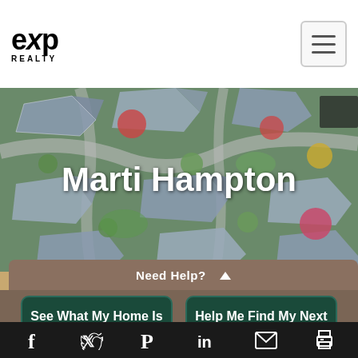[Figure (logo): eXp Realty logo in top left — bold stylized text 'exp' with italic x, and 'REALTY' below in small caps]
[Figure (photo): Aerial drone photograph of a suburban residential neighborhood showing rooftops, driveways, green lawns, and autumn-colored trees]
Marti Hampton
Need Help? ▲
See What My Home Is Worth
Help Me Find My Next Home
[Figure (infographic): Footer social media icon bar with Facebook, Twitter, Pinterest, LinkedIn, Email, and Print icons on dark background]